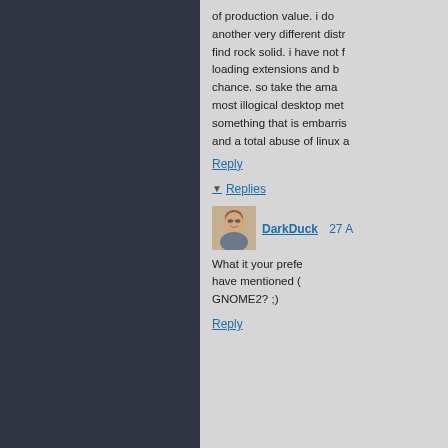of production value. i do another very different distr find rock solid. i have not f loading extensions and b chance. so take the ama most illogical desktop met something that is embarris and a total abuse of linux a
Reply
Replies
DarkDuck  27 A
[Figure (photo): Avatar photo of DarkDuck, a person wearing glasses]
What it your prefe have mentioned ( GNOME2? ;)
Reply